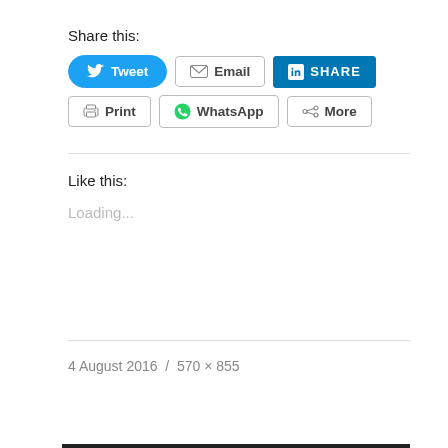Share this:
[Figure (screenshot): Social share buttons row 1: Tweet (Twitter, blue pill button), Email (grey border button), SHARE (LinkedIn, dark blue button)]
[Figure (screenshot): Social share buttons row 2: Print (grey border button), WhatsApp (grey border button with green WhatsApp icon), More (grey border button with share icon)]
Like this:
Loading...
4 August 2016  /  570 × 855